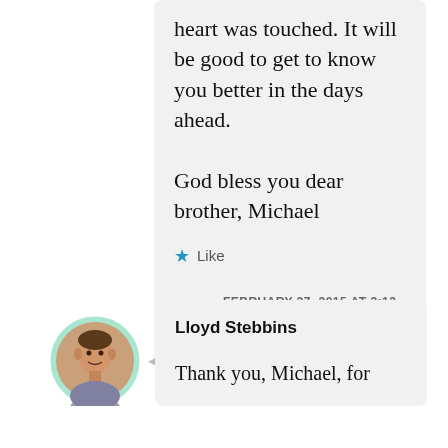heart was touched. It will be good to get to know you better in the days ahead.
God bless you dear brother, Michael
★ Like
FEBRUARY 27, 2015 AT 3:12 PM
↳ REPLY
Lloyd Stebbins
Thank you, Michael, for